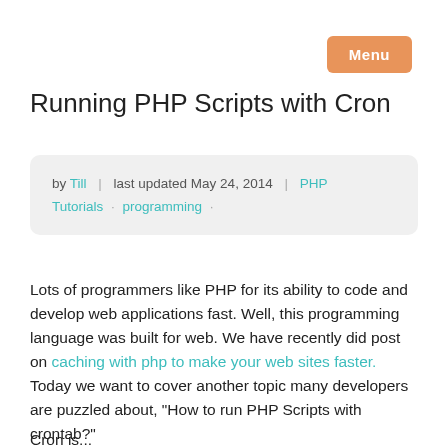Menu
Running PHP Scripts with Cron
by Till | last updated May 24, 2014 | PHP Tutorials · programming ·
Lots of programmers like PHP for its ability to code and develop web applications fast. Well, this programming language was built for web. We have recently did post on caching with php to make your web sites faster. Today we want to cover another topic many developers are puzzled about, "How to run PHP Scripts with crontab?"
Cron is...